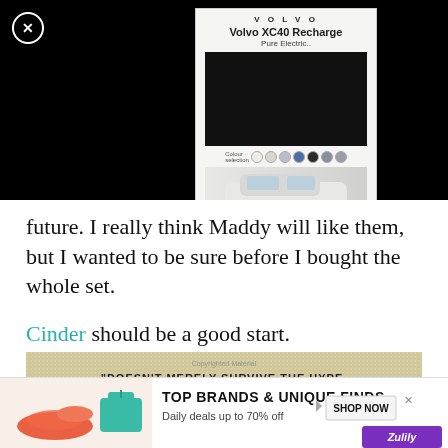[Figure (screenshot): Volvo XC40 Recharge advertisement panel with car configurator showing color swatches and a white SUV, overlaid on black background with close button]
future. I really think Maddy will like them, but I wanted to be sure before I bought the whole set.
Cinder should be a good start.
[Figure (photo): Book cover for Marie Lu novel with gold/silver glittery texture and quote: "DOESN'T MERELY SURVIVE THE HYPE, IT DESERVES IT." —THE NEW YORK TIMES, with author name MARIE LU in large gold letters]
[Figure (screenshot): Bottom advertisement banner: TOP BRANDS & UNIQUE FINDS - Daily deals up to 70% off - SHOP NOW - Zulily, showing shoes, handbag images]